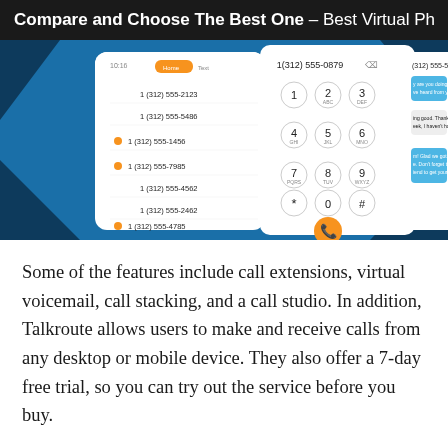Compare and Choose The Best One – Best Virtual Pho
[Figure (screenshot): Mobile app screenshots showing a virtual phone system with contact list of 1(312) numbers, a dial pad showing 1(312) 555-0879, and a text messaging interface showing 1(312) 555-5810 with a conversation]
Some of the features include call extensions, virtual voicemail, call stacking, and a call studio. In addition, Talkroute allows users to make and receive calls from any desktop or mobile device. They also offer a 7-day free trial, so you can try out the service before you buy.